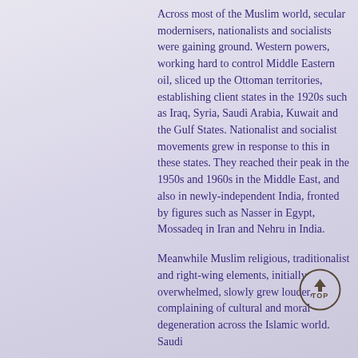Across most of the Muslim world, secular modernisers, nationalists and socialists were gaining ground. Western powers, working hard to control Middle Eastern oil, sliced up the Ottoman territories, establishing client states in the 1920s such as Iraq, Syria, Saudi Arabia, Kuwait and the Gulf States. Nationalist and socialist movements grew in response to this in these states. They reached their peak in the 1950s and 1960s in the Middle East, and also in newly-independent India, fronted by figures such as Nasser in Egypt, Mossadeq in Iran and Nehru in India.

Meanwhile Muslim religious, traditionalist and right-wing elements, initially overwhelmed, slowly grew louder, complaining of cultural and moral degeneration across the Islamic world. Saudi
[Figure (other): A circular 'TOP' navigation button with an upward arrow, outlined in dark gray/brown on a light background]